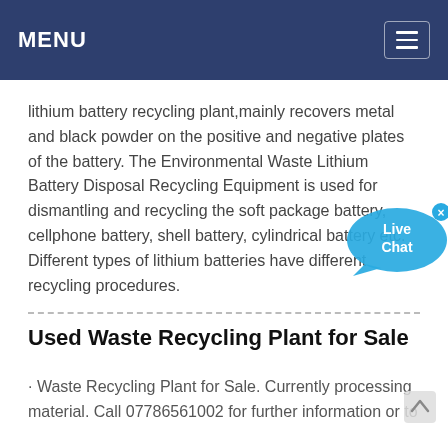MENU
lithium battery recycling plant,mainly recovers metal and black powder on the positive and negative plates of the battery. The Environmental Waste Lithium Battery Disposal Recycling Equipment is used for dismantling and recycling the soft package battery, cellphone battery, shell battery, cylindrical battery etc. Different types of lithium batteries have different recycling procedures.
Used Waste Recycling Plant for Sale
· Waste Recycling Plant for Sale. Currently processing material. Call 07786561002 for further information or to